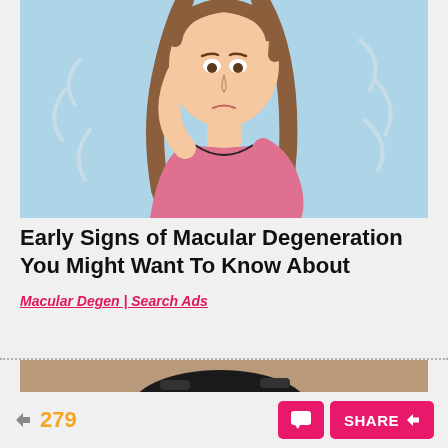[Figure (illustration): Cartoon illustration of a woman rubbing her eye with expression of discomfort, wearing a pink top, on a light blue background with motion lines suggesting dizziness or pain]
Early Signs of Macular Degeneration You Might Want To Know About
Macular Degen | Search Ads
[Figure (photo): Partial photo of dark sandals or footwear on a sandy/stone surface, partially visible at bottom]
279
SHARE